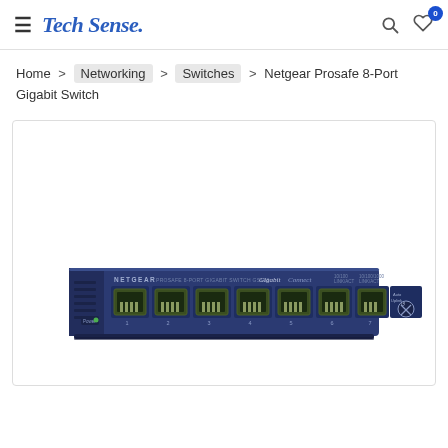Tech Sense.
Home > Networking > Switches > Netgear Prosafe 8-Port Gigabit Switch
[Figure (photo): Netgear Prosafe 8-Port Gigabit Switch (model GS108), a dark navy blue desktop network switch with 8 RJ-45 Gigabit Ethernet ports on the front panel, labeled 1-8, with a Power LED indicator on the left and an Auto-MDIX label/button on the right. The front panel text reads: NETGEAR PROSAFE 8-PORT GIGABIT SWITCH GS108, Gigabit Connect.]